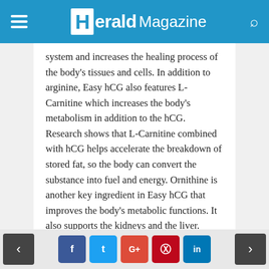Herald Magazine
system and increases the healing process of the body's tissues and cells. In addition to arginine, Easy hCG also features L-Carnitine which increases the body's metabolism in addition to the hCG. Research shows that L-Carnitine combined with hCG helps accelerate the breakdown of stored fat, so the body can convert the substance into fuel and energy. Ornithine is another key ingredient in Easy hCG that improves the body's metabolic functions. It also supports the kidneys and the liver.
HCG 1234: hCG 1234 is manufactured by Creative Bioscience. All the laboratories for Creative Bioscience are in the United States in GMP-approved facilities. Their product, hCG
< f t G+ p in >